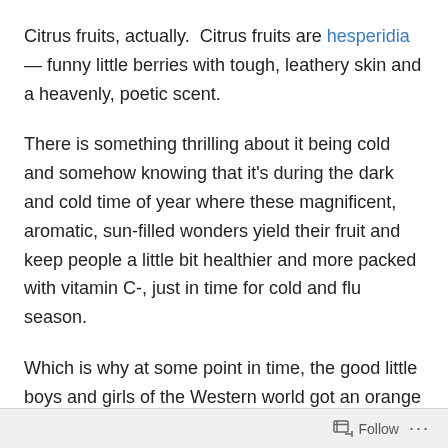Citrus fruits, actually.  Citrus fruits are hesperidia— funny little berries with tough, leathery skin and a heavenly, poetic scent.
There is something thrilling about it being cold and somehow knowing that it's during the dark and cold time of year where these magnificent, aromatic, sun-filled wonders yield their fruit and keep people a little bit healthier and more packed with vitamin C-, just in time for cold and flu season.
Which is why at some point in time, the good little boys and girls of the Western world got an orange or a tangerine in their Christmas stocking, by the way.  To think that kids didn't feel totally gypped by that… ah, it does
Follow ···